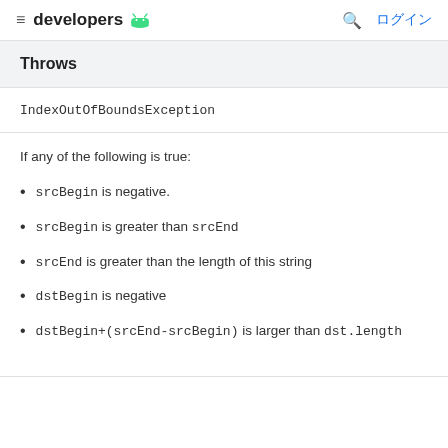developers  ログイン
Throws
IndexOutOfBoundsException
If any of the following is true:
srcBegin is negative.
srcBegin is greater than srcEnd
srcEnd is greater than the length of this string
dstBegin is negative
dstBegin+(srcEnd-srcBegin) is larger than dst.length